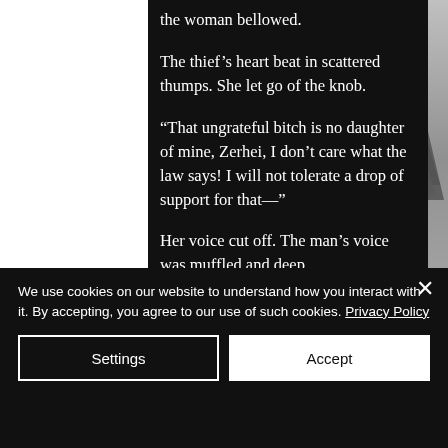the woman bellowed.

The thief’s heart beat in scattered thumps. She let go of the knob.

“That ungrateful bitch is no daughter of mine, Zerhei, I don’t care what the law says! I will not tolerate a drop of support for that—”

Her voice cut off. The man’s voice was muffled and deep.
We use cookies on our website to understand how you interact with it. By accepting, you agree to our use of such cookies. Privacy Policy
Settings
Accept